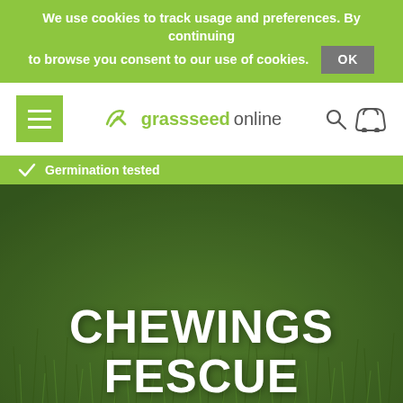We use cookies to track usage and preferences. By continuing to browse you consent to our use of cookies. OK
[Figure (logo): Grass Seed Online logo with green leaf/checkmark icon]
Germination tested
CHEWINGS FESCUE